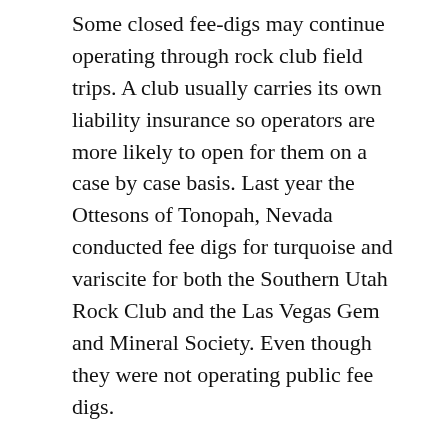Some closed fee-digs may continue operating through rock club field trips. A club usually carries its own liability insurance so operators are more likely to open for them on a case by case basis. Last year the Ottesons of Tonopah, Nevada conducted fee digs for turquoise and variscite for both the Southern Utah Rock Club and the Las Vegas Gem and Mineral Society. Even though they were not operating public fee digs.
Pat Dolan said the Madras Rockhound Pow Wow has dug at the Ranch before. But that group has no outing planned anywhere until September, and that for agates a good distance from the Ranch. Pat also mentioned the Prineville Rockhound Pow Wow in Crook County, Oregon but their 2020 event has also been cancelled. Truly, this is a year of do it yourself field trips.
Here's information on the Richardson's Rock Ranch